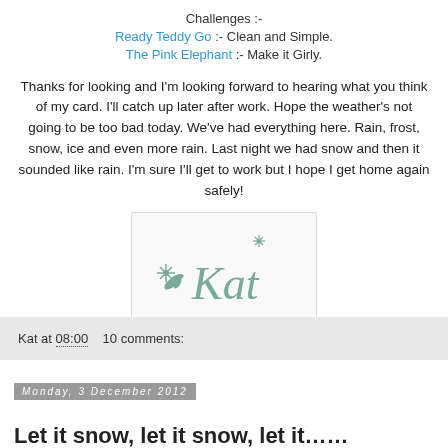Challenges :-
Ready Teddy Go :- Clean and Simple.
The Pink Elephant :- Make it Girly.
Thanks for looking and I'm looking forward to hearing what you think of my card. I'll catch up later after work. Hope the weather's not going to be too bad today. We've had everything here. Rain, frost, snow, ice and even more rain. Last night we had snow and then it sounded like rain. I'm sure I'll get to work but I hope I get home again safely!
[Figure (illustration): Handwritten signature 'Kat' with decorative snowflake motifs in teal/grey color, inside a light bordered box.]
Kat at 08:00   10 comments:
Monday, 3 December 2012
Let it snow, let it snow, let it……